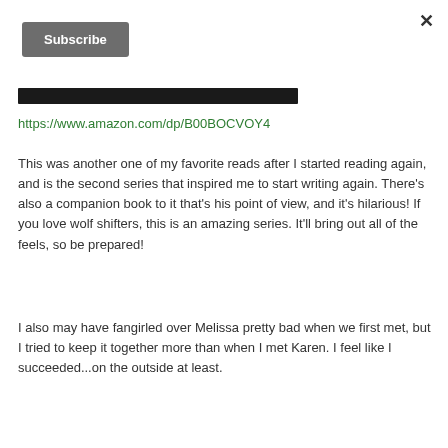[Figure (other): Close (X) button in top-right corner of modal]
[Figure (other): Subscribe button (dark gray rounded rectangle)]
[Figure (other): Dark black bar (partially visible image or input field)]
https://www.amazon.com/dp/B00BOCVOY4
This was another one of my favorite reads after I started reading again, and is the second series that inspired me to start writing again. There’s also a companion book to it that’s his point of view, and it’s hilarious! If you love wolf shifters, this is an amazing series. It’ll bring out all of the feels, so be prepared!
I also may have fangirled over Melissa pretty bad when we first met, but I tried to keep it together more than when I met Karen. I feel like I succeeded...on the outside at least.